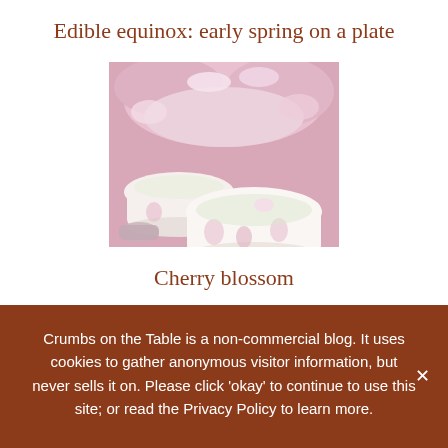Edible equinox: early spring on a plate
[Figure (photo): Two white bowls with floral pattern containing light-colored liquid, surrounded by pink cherry blossoms]
Cherry blossom
[Figure (photo): Partial view of a food dish with green herbs and orange/pink ingredients]
Crumbs on the Table is a non-commercial blog. It uses cookies to gather anonymous visitor information, but never sells it on. Please click ‘okay’ to continue to use this site; or read the Privacy Policy to learn more.